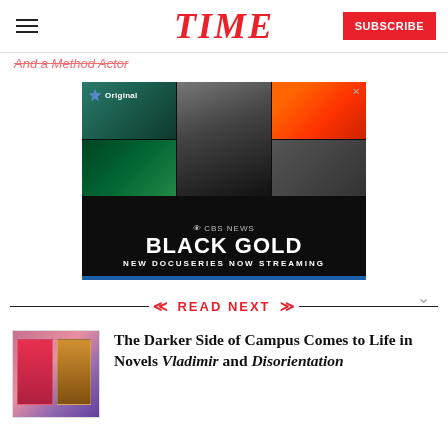TIME | SUBSCRIBE
And a Method Actor
[Figure (photo): CBS News 'Black Gold' new docuseries advertisement with Paramount Original branding, showing collage of images including a man in suit, fire, industrial scenes, and the text 'BLACK GOLD NEW DOCUSERIES NOW STREAMING']
READ NEXT
[Figure (photo): Book cover thumbnail showing two books side by side]
The Darker Side of Campus Comes to Life in Novels Vladimir and Disorientation